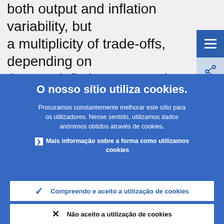both output and inflation variability, but a multiplicity of trade-offs, depending on the way inflation expectations are formed inflation expectations rise, for whatever the efficiency of action b
O nosso sítio utiliza cookies.
Procuramos constantemente melhorar este sítio para os utilizadores. Nesse sentido, utilizamos dados anónimos obtidos através de cookies.
Mais informação sobre a forma como utilizamos cookies
Compreendo e aceito a utilização de cookies
Não aceito a utilização de cookies